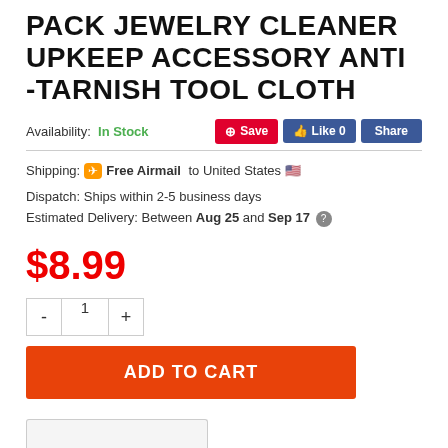PACK JEWELRY CLEANER UPKEEP ACCESSORY ANTI -TARNISH TOOL CLOTH
Availability: In Stock
Shipping: ✈ Free Airmail to United States 🇺🇸
Dispatch: Ships within 2-5 business days
Estimated Delivery: Between Aug 25 and Sep 17
$8.99
- 1 +
ADD TO CART